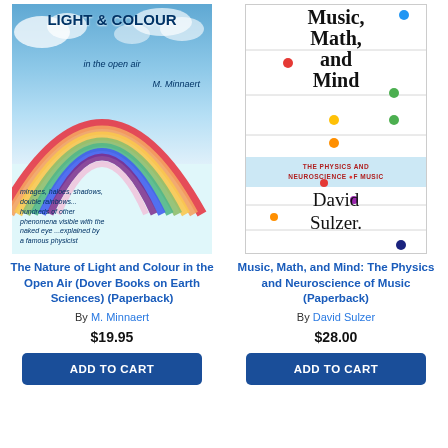[Figure (photo): Book cover of 'Light & Colour in the Open Air' by M. Minnaert, showing a rainbow against a cloudy blue sky]
The Nature of Light and Colour in the Open Air (Dover Books on Earth Sciences) (Paperback)
By M. Minnaert
$19.95
ADD TO CART
[Figure (photo): Book cover of 'Music, Math, and Mind: The Physics and Neuroscience of Music' by David Sulzer, white cover with colorful dots]
Music, Math, and Mind: The Physics and Neuroscience of Music (Paperback)
By David Sulzer
$28.00
ADD TO CART